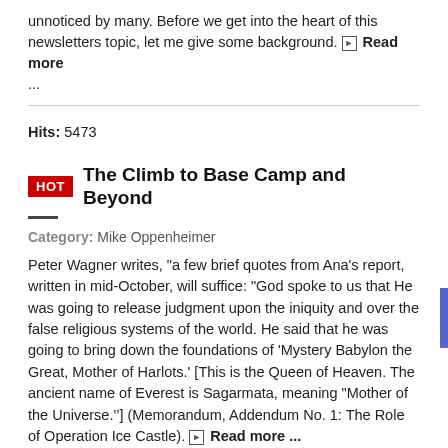unnoticed by many. Before we get into the heart of this newsletters topic, let me give some background. ⊞ Read more ...
Hits: 5473
HOT  The Climb to Base Camp and Beyond
Category: Mike Oppenheimer
Peter Wagner writes, "a few brief quotes from Ana's report, written in mid-October, will suffice: "God spoke to us that He was going to release judgment upon the iniquity and over the false religious systems of the world. He said that he was going to bring down the foundations of 'Mystery Babylon the Great, Mother of Harlots.' [This is the Queen of Heaven. The ancient name of Everest is Sagarmata, meaning "Mother of the Universe.'’] (Memorandum, Addendum No. 1: The Role of Operation Ice Castle). ⊞ Read more ...
Hits: 8055